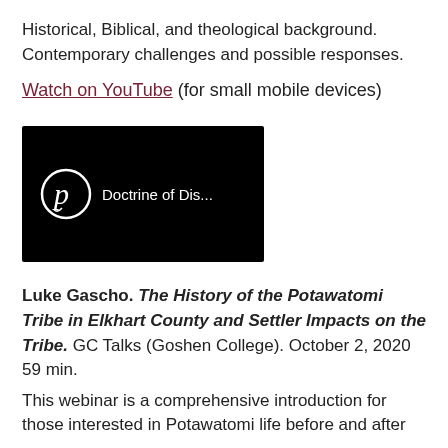Historical, Biblical, and theological background. Contemporary challenges and possible responses.
Watch on YouTube (for small mobile devices)
[Figure (screenshot): Video thumbnail with black background showing a circular logo with letter 'p' and text 'Doctrine of Dis...']
Luke Gascho. The History of the Potawatomi Tribe in Elkhart County and Settler Impacts on the Tribe. GC Talks (Goshen College). October 2, 2020 59 min.
This webinar is a comprehensive introduction for those interested in Potawatomi life before and after